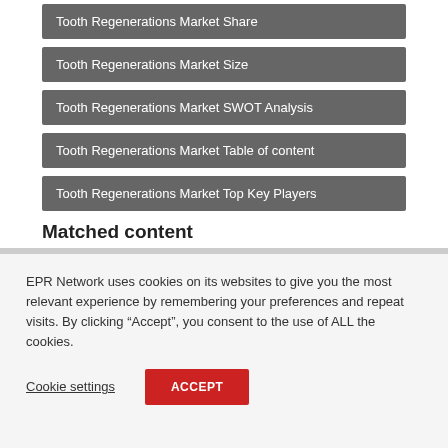Tooth Regenerations Market Share
Tooth Regenerations Market Size
Tooth Regenerations Market SWOT Analysis
Tooth Regenerations Market Table of content
Tooth Regenerations Market Top Key Players
Matched content
EPR Network uses cookies on its websites to give you the most relevant experience by remembering your preferences and repeat visits. By clicking “Accept”, you consent to the use of ALL the cookies.
Cookie settings   ACCEPT